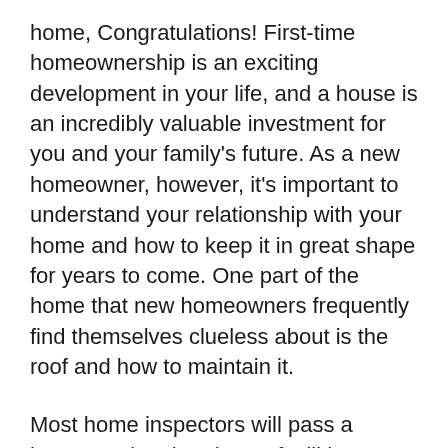home, Congratulations! First-time homeownership is an exciting development in your life, and a house is an incredibly valuable investment for you and your family's future. As a new homeowner, however, it's important to understand your relationship with your home and how to keep it in great shape for years to come. One part of the home that new homeowners frequently find themselves clueless about is the roof and how to maintain it.
Most home inspectors will pass a house saying that the roof still has 5 to 10 years left. However, most inspectors aren't trained to look at a house roof and are good at